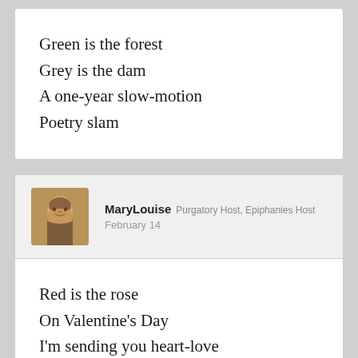Green is the forest
Grey is the dam
A one-year slow-motion
Poetry slam
MaryLouise Purgatory Host, Epiphanies Host
February 14
Red is the rose
On Valentine's Day
I'm sending you heart-love
In rhyme anyway

My scanning is poor